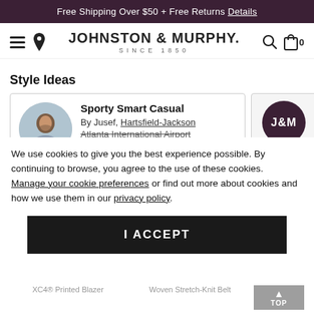Free Shipping Over $50 + Free Returns Details
[Figure (logo): Johnston & Murphy logo with hamburger menu, location pin, search and bag icons]
Style Ideas
[Figure (screenshot): Sporty Smart Casual style card by Jusef, Hartsfield-Jackson Atlanta International Airport, Atlanta, GA]
We use cookies to give you the best experience possible. By continuing to browse, you agree to the use of these cookies. Manage your cookie preferences or find out more about cookies and how we use them in our privacy policy.
I ACCEPT
XC4® Printed Blazer
Woven Stretch-Knit Belt